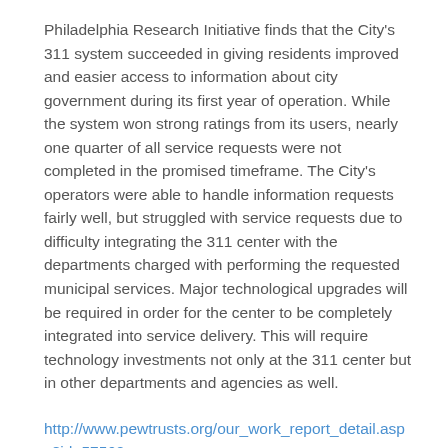Philadelphia Research Initiative finds that the City's 311 system succeeded in giving residents improved and easier access to information about city government during its first year of operation. While the system won strong ratings from its users, nearly one quarter of all service requests were not completed in the promised timeframe. The City's operators were able to handle information requests fairly well, but struggled with service requests due to difficulty integrating the 311 center with the departments charged with performing the requested municipal services. Major technological upgrades will be required in order for the center to be completely integrated into service delivery. This will require technology investments not only at the 311 center but in other departments and agencies as well.
http://www.pewtrusts.org/our_work_report_detail.aspx?id=57562